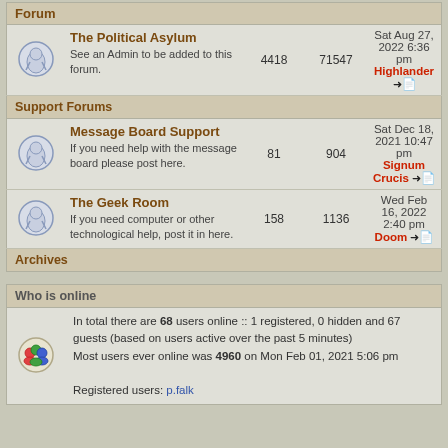Forum
|  | Forum | Topics | Posts | Last post |
| --- | --- | --- | --- | --- |
| [icon] | The Political Asylum
See an Admin to be added to this forum. | 4418 | 71547 | Sat Aug 27, 2022 6:36 pm
Highlander → |
| Support Forums |  |  |  |  |
| [icon] | Message Board Support
If you need help with the message board please post here. | 81 | 904 | Sat Dec 18, 2021 10:47 pm
Signum Crucis → |
| [icon] | The Geek Room
If you need computer or other technological help, post it in here. | 158 | 1136 | Wed Feb 16, 2022 2:40 pm
Doom → |
| Archives |  |  |  |  |
Who is online
|  |  |
| --- | --- |
| [icon] | In total there are 68 users online :: 1 registered, 0 hidden and 67 guests (based on users active over the past 5 minutes)
Most users ever online was 4960 on Mon Feb 01, 2021 5:06 pm

Registered users: p.falk |